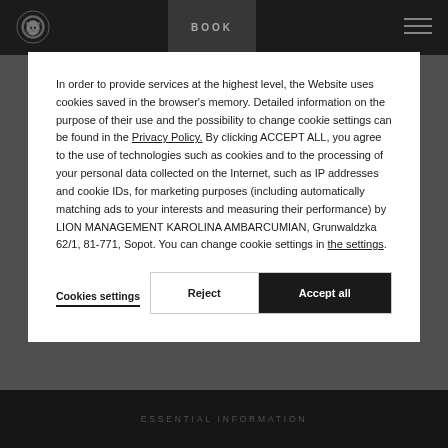[Figure (screenshot): Website navigation bar with lion logo, BOOK button, and hamburger menu on dark background]
In order to provide services at the highest level, the Website uses cookies saved in the browser's memory. Detailed information on the purpose of their use and the possibility to change cookie settings can be found in the Privacy Policy. By clicking ACCEPT ALL, you agree to the use of technologies such as cookies and to the processing of your personal data collected on the Internet, such as IP addresses and cookie IDs, for marketing purposes (including automatically matching ads to your interests and measuring their performance) by LION MANAGEMENT KAROLINA AMBARCUMIAN, Grunwaldzka 62/1, 81-771, Sopot. You can change cookie settings in the settings.
Cookies settings
Reject
Accept all
ESSENTIAL INFORMATION